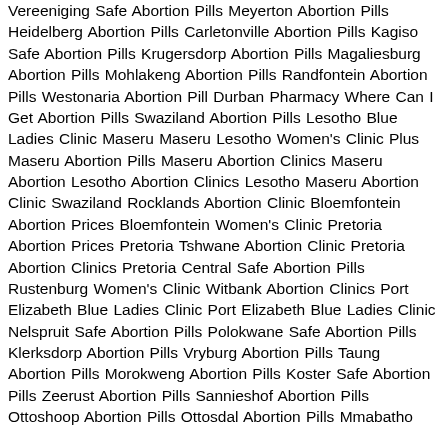Vereeniging Safe Abortion Pills Meyerton Abortion Pills Heidelberg Abortion Pills Carletonville Abortion Pills Kagiso Safe Abortion Pills Krugersdorp Abortion Pills Magaliesburg Abortion Pills Mohlakeng Abortion Pills Randfontein Abortion Pills Westonaria Abortion Pill Durban Pharmacy Where Can I Get Abortion Pills Swaziland Abortion Pills Lesotho Blue Ladies Clinic Maseru Maseru Lesotho Women's Clinic Plus Maseru Abortion Pills Maseru Abortion Clinics Maseru Abortion Lesotho Abortion Clinics Lesotho Maseru Abortion Clinic Swaziland Rocklands Abortion Clinic Bloemfontein Abortion Prices Bloemfontein Women's Clinic Pretoria Abortion Prices Pretoria Tshwane Abortion Clinic Pretoria Abortion Clinics Pretoria Central Safe Abortion Pills Rustenburg Women's Clinic Witbank Abortion Clinics Port Elizabeth Blue Ladies Clinic Port Elizabeth Blue Ladies Clinic Nelspruit Safe Abortion Pills Polokwane Safe Abortion Pills Klerksdorp Abortion Pills Vryburg Abortion Pills Taung Abortion Pills Morokweng Abortion Pills Koster Safe Abortion Pills Zeerust Abortion Pills Sannieshof Abortion Pills Ottoshoop Abortion Pills Ottosdal Abortion Pills Mmabatho